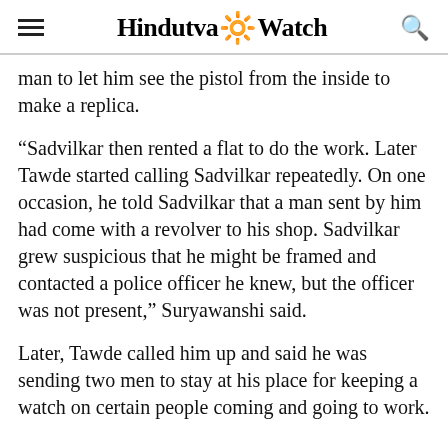Hindutva Watch
man to let him see the pistol from the inside to make a replica.
“Sadvilkar then rented a flat to do the work. Later Tawde started calling Sadvilkar repeatedly. On one occasion, he told Sadvilkar that a man sent by him had come with a revolver to his shop. Sadvilkar grew suspicious that he might be framed and contacted a police officer he knew, but the officer was not present,” Suryawanshi said.
Later, Tawde called him up and said he was sending two men to stay at his place for keeping a watch on certain people coming and going to work.